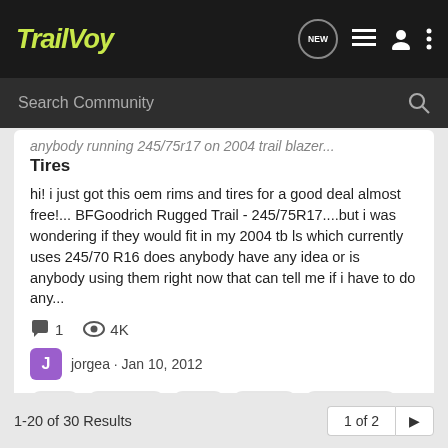TrailVoy
Search Community
anybody running 245/75r17 on 2004 trail blazer...
Tires
hi! i just got this oem rims and tires for a good deal almost free!... BFGoodrich Rugged Trail - 245/75R17....but i was wondering if they would fit in my 2004 tb ls which currently uses 245/70 R16 does anybody have any idea or is anybody using them right now that can tell me if i have to do any...
1   4K
jorgea · Jan 10, 2012
2004
245/75r17
mods
spacers
trail blazer ls
1-20 of 30 Results   1 of 2 ▶